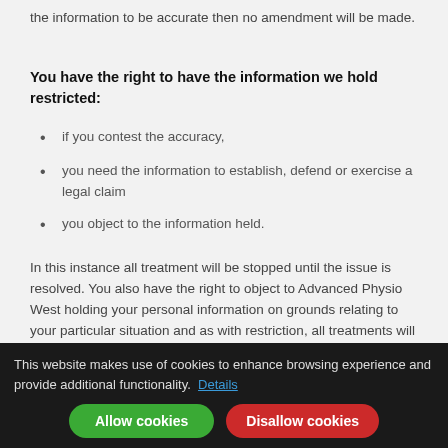the information to be accurate then no amendment will be made.
You have the right to have the information we hold restricted:
if you contest the accuracy,
you need the information to establish, defend or exercise a legal claim
you object to the information held.
In this instance all treatment will be stopped until the issue is resolved. You also have the right to object to Advanced Physio West holding your personal information on grounds relating to your particular situation and as with restriction, all treatments will stop and the notes will become restricted until the issue is resolved.
How is your infor...
This website makes use of cookies to enhance browsing experience and provide additional functionality. Details
Allow cookies | Disallow cookies